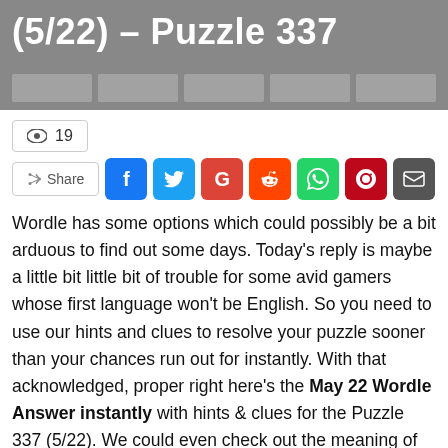(5/22) – Puzzle 337
19
Share
Wordle has some options which could possibly be a bit arduous to find out some days. Today's reply is maybe a little bit little bit of trouble for some avid gamers whose first language won't be English. So you need to use our hints and clues to resolve your puzzle sooner than your chances run out for instantly. With that acknowledged, proper right here's the May 22 Wordle Answer instantly with hints & clues for the Puzzle 337 (5/22). We could even check out the meaning of the Answer for avid gamers who're having trouble with this phrase.